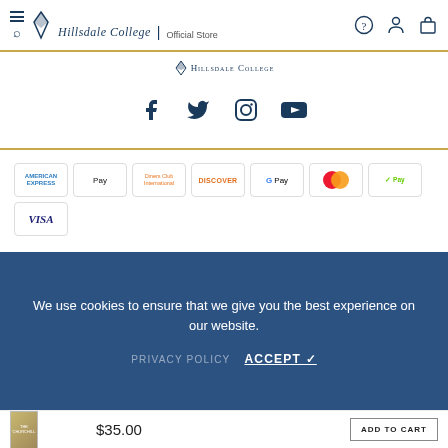[Figure (logo): Hillsdale College Official Store header logo with hamburger/search icon and navigation icons]
[Figure (logo): Hillsdale College small centered logo]
[Figure (infographic): Social media icons: Facebook, Twitter, Instagram, YouTube in dark blue]
[Figure (infographic): Payment method badges: American Express, Apple Pay, Diners Club, Discover, Google Pay, Mastercard, Shopify Pay, Visa]
We use cookies to ensure that we give you the best experience on our website.
PRIVACY POLICY   ACCEPT ✓
[Figure (photo): The Churchill Documents book cover thumbnail]
$35.00
ADD TO CART